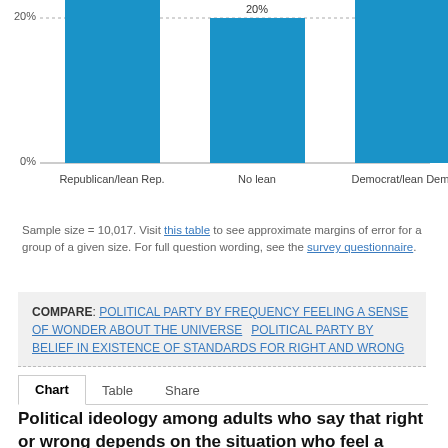[Figure (bar-chart): ]
Sample size = 10,017. Visit this table to see approximate margins of error for a group of a given size. For full question wording, see the survey questionnaire.
COMPARE: POLITICAL PARTY BY FREQUENCY FEELING A SENSE OF WONDER ABOUT THE UNIVERSE   POLITICAL PARTY BY BELIEF IN EXISTENCE OF STANDARDS FOR RIGHT AND WRONG
Chart   Table   Share
Political ideology among adults who say that right or wrong depends on the situation who feel a